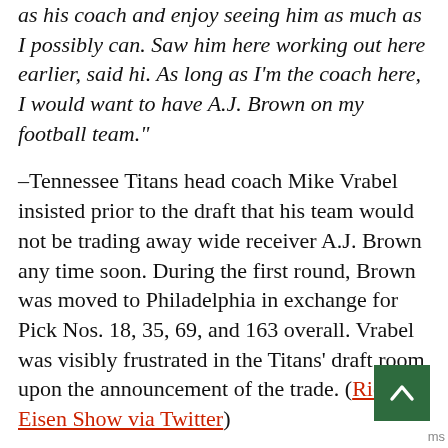as his coach and enjoy seeing him as much as I possibly can. Saw him here working out here earlier, said hi. As long as I'm the coach here, I would want to have A.J. Brown on my football team."
–Tennessee Titans head coach Mike Vrabel insisted prior to the draft that his team would not be trading away wide receiver A.J. Brown any time soon. During the first round, Brown was moved to Philadelphia in exchange for Pick Nos. 18, 35, 69, and 163 overall. Vrabel was visibly frustrated in the Titans' draft room upon the announcement of the trade. (Rich Eisen Show via Twitter)
"This wasn't my fault. I wanted to stay, but the deal they offered was a low offer. The deal they offered wasn't even $20 million a year."
–As A.J. Brown thanked the Titans during his departure, he specifically wanted to let fans know